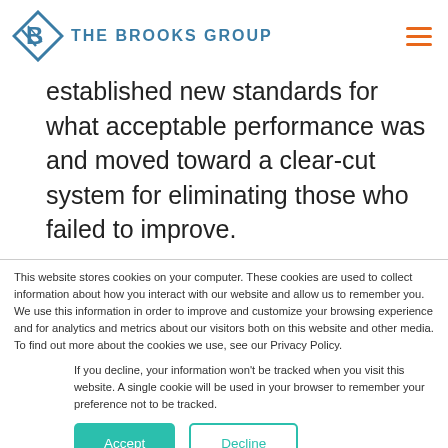THE BROOKS GROUP
established new standards for what acceptable performance was and moved toward a clear-cut system for eliminating those who failed to improve.
This website stores cookies on your computer. These cookies are used to collect information about how you interact with our website and allow us to remember you. We use this information in order to improve and customize your browsing experience and for analytics and metrics about our visitors both on this website and other media. To find out more about the cookies we use, see our Privacy Policy.
If you decline, your information won't be tracked when you visit this website. A single cookie will be used in your browser to remember your preference not to be tracked.